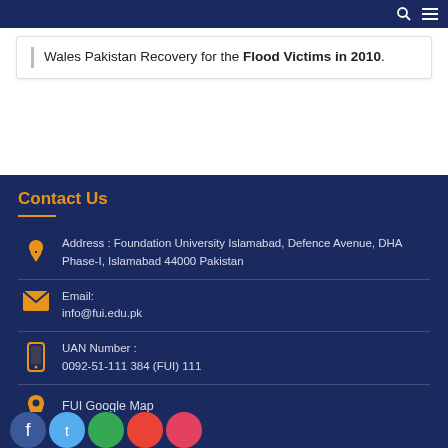Wales Pakistan Recovery for the Flood Victims in 2010.
Contact Us
Address : Foundation University Islamabad, Defence Avenue, DHA Phase-I, Islamabad 44000 Pakistan
Email: info@fui.edu.pk
UAN Number : 0092-51-111 384 (FUI) 111
FUI Google Map